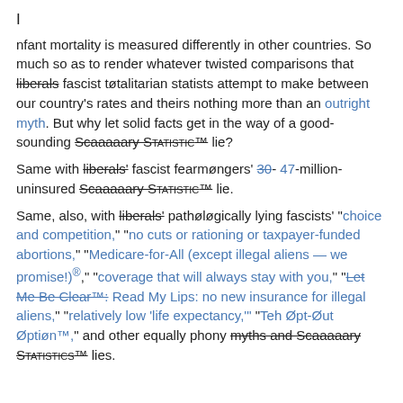I

nfant mortality is measured differently in other countries. So much so as to render whatever twisted comparisons that liberals fascist tøtalitarian statists attempt to make between our country's rates and theirs nothing more than an outright myth. But why let solid facts get in the way of a good-sounding Scaaaaary Statistic™ lie?

Same with liberals' fascist fearmøngers' 30- 47-million-uninsured Scaaaaary Statistic™ lie.

Same, also, with liberals' pathøløgically lying fascists' "choice and competition," "no cuts or rationing or taxpayer-funded abortions," "Medicare-for-All (except illegal aliens — we promise!)®," "coverage that will always stay with you," "Let Me Be Clear™: Read My Lips: no new insurance for illegal aliens," "relatively low 'life expectancy,'" "Teh Øpt-Øut Øptiøn™," and other equally phony myths and Scaaaaary Statistics™ lies.